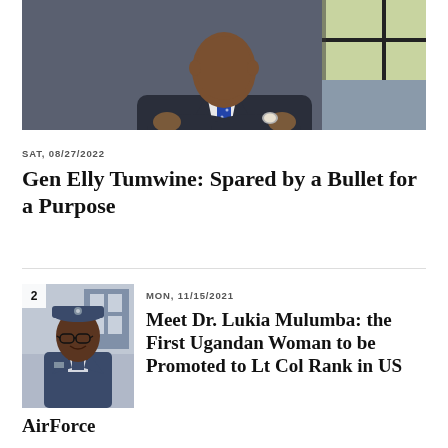[Figure (photo): Photo of a man in a dark suit with crossed arms, wearing a watch and polka-dot tie]
SAT, 08/27/2022
Gen Elly Tumwine: Spared by a Bullet for a Purpose
[Figure (photo): Photo of a woman in US Air Force uniform with glasses and a military cap, numbered 2]
MON, 11/15/2021
Meet Dr. Lukia Mulumba: the First Ugandan Woman to be Promoted to Lt Col Rank in US AirForce